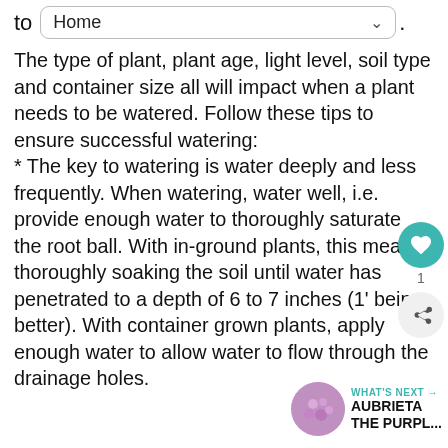to  Home
The type of plant, plant age, light level, soil type and container size all will impact when a plant needs to be watered. Follow these tips to ensure successful watering:
* The key to watering is water deeply and less frequently. When watering, water well, i.e. provide enough water to thoroughly saturate the root ball. With in-ground plants, this means thoroughly soaking the soil until water has penetrated to a depth of 6 to 7 inches (1' being better). With container grown plants, apply enough water to allow water to flow through the drainage holes.
WHAT'S NEXT → AUBRIETA THE PURPL...